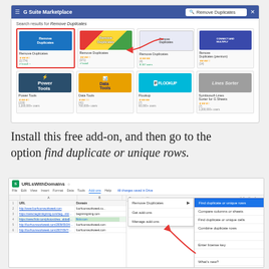[Figure (screenshot): G Suite Marketplace search results for Remove Duplicates, showing a grid of add-on cards. The first card (Remove Duplicates) is highlighted with a red border and a red arrow pointing to it. Second row shows Power Tools, Data Tools, Flookup, and Lines Sorter for G Sheets.]
Install this free add-on, and then go to the option find duplicate or unique rows.
[Figure (screenshot): Google Sheets spreadsheet named URLsWithDomains open with the Add-ons menu expanded showing Remove Duplicates submenu. The option 'Find duplicate or unique rows' is highlighted. A red arrow points to this option.]